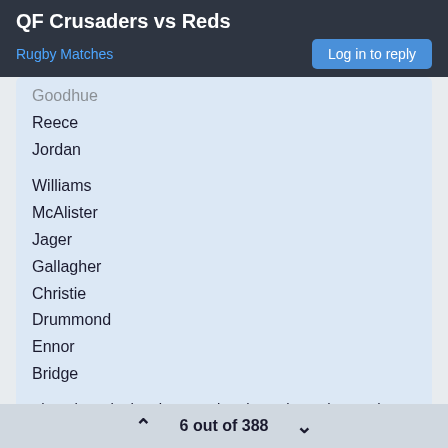QF Crusaders vs Reds
Rugby Matches
Goodhue
Reece
Jordan
Williams
McAlister
Jager
Gallagher
Christie
Drummond
Ennor
Bridge
Though Burke has improved and may be a shot on the bench. Brewis challenging Williams for a bench slot?
Moody, Strange, Dunshea and Sione Havili presumably unavailable.
Jager maybe starting for Newell otherwise thats the 23
6 out of 388